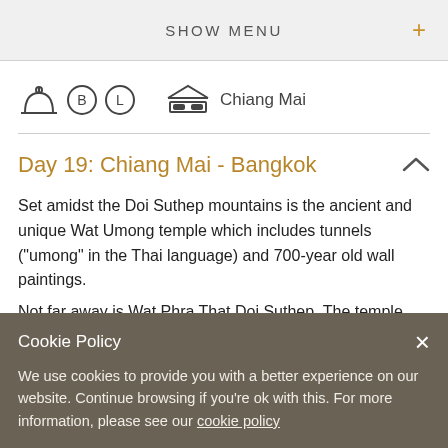SHOW MENU +
[Figure (illustration): Icons row: food dome icon, B and L circled icons, bed/accommodation icon, text Chiang Mai]
Day 19: Chiang Mai - Bangkok
Set amidst the Doi Suthep mountains is the ancient and unique Wat Umong temple which includes tunnels ("umong" in the Thai language) and 700-year old wall paintings.
Not far away is Wat Phra That Doi Suthep. The temple...
Cookie Policy
We use cookies to provide you with a better experience on our website. Continue browsing if you're ok with this. For more information, please see our cookie policy